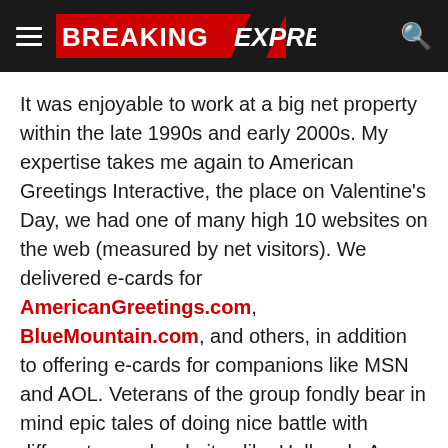Breaking Express
It was enjoyable to work at a big net property within the late 1990s and early 2000s. My expertise takes me again to American Greetings Interactive, the place on Valentine’s Day, we had one of many high 10 websites on the web (measured by net visitors). We delivered e-cards for AmericanGreetings.com, BlueMountain.com, and others, in addition to offering e-cards for companions like MSN and AOL. Veterans of the group fondly bear in mind epic tales of doing nice battle with different e-card websites like Hallmark. As an apart, I additionally ran massive net properties for Holly Hobbie, Care Bears, and Strawberry Shortcake.
I bear in mind prefer it was yesterday the primary time we had an actual drawback. Normally, we had about 200Mbps of visitors coming in our entrance doorways (routers